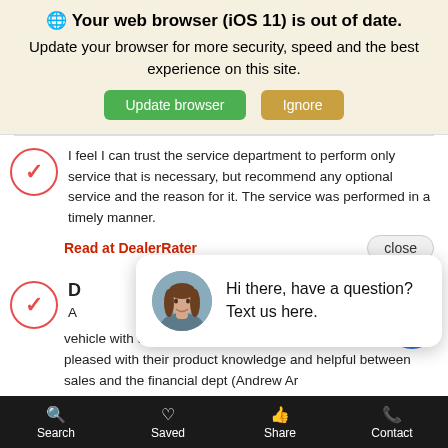🌐 Your web browser (iOS 11) is out of date. Update your browser for more security, speed and the best experience on this site.
I feel I can trust the service department to perform only service that is necessary, but recommend any optional service and the reason for it. The service was performed in a timely manner.
Read at DealerRater
[Figure (screenshot): Chat popup with avatar photo of a woman and text: Hi there, have a question? Text us here.]
A ... e the vehicle with the chosen options and color. I was more than pleased with their product knowledge and helpful between sales and the financial dept (Andrew Ar...
Search   Saved   Share   Contact